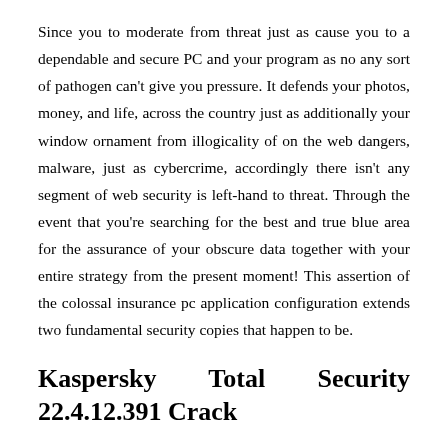Since you to moderate from threat just as cause you to a dependable and secure PC and your program as no any sort of pathogen can't give you pressure. It defends your photos, money, and life, across the country just as additionally your window ornament from illogicality of on the web dangers, malware, just as cybercrime, accordingly there isn't any segment of web security is left-hand to threat. Through the event that you're searching for the best and true blue area for the assurance of your obscure data together with your entire strategy from the present moment! This assertion of the colossal insurance pc application configuration extends two fundamental security copies that happen to be.
Kaspersky Total Security 22.4.12.391 Crack
Kaspersky Total Security 2022 Keygen gives a protected capacity to its clients it handles the security passwords of your pc, Mac contraptions , just as your email ids. It doesn't simply defend